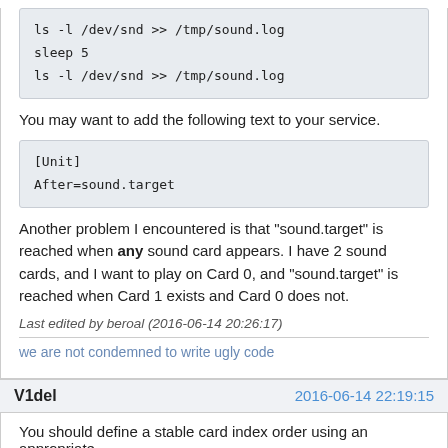ls -l /dev/snd >> /tmp/sound.log
sleep 5
ls -l /dev/snd >> /tmp/sound.log
You may want to add the following text to your service.
[Unit]
After=sound.target
Another problem I encountered is that "sound.target" is reached when any sound card appears. I have 2 sound cards, and I want to play on Card 0, and "sound.target" is reached when Card 1 exists and Card 0 does not.
Last edited by beroal (2016-06-14 20:26:17)
we are not condemned to write ugly code
V1del
2016-06-14 22:19:15
You should define a stable card index order using an appropriate